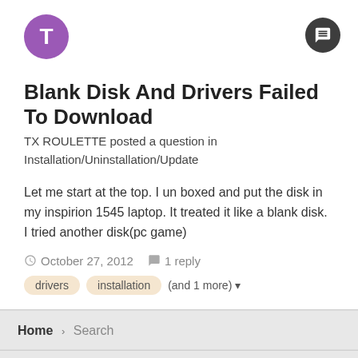Blank Disk And Drivers Failed To Download
TX ROULETTE posted a question in Installation/Uninstallation/Update
Let me start at the top. I un boxed and put the disk in my inspirion 1545 laptop. It treated it like a blank disk. I tried another disk(pc game)
October 27, 2012   1 reply
drivers   installation   (and 1 more)
Home › Search
Theme ▾   Contact Us
Powered by Invision Community